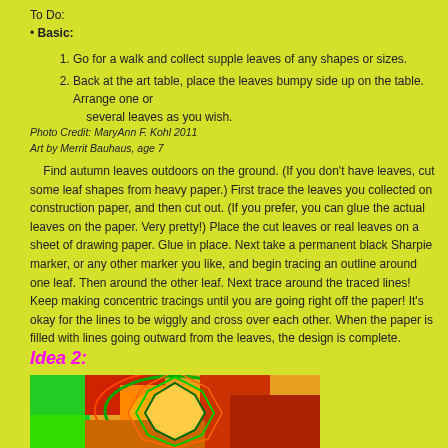To Do:
• Basic:
1. Go for a walk and collect supple leaves of any shapes or sizes.
2. Back at the art table, place the leaves bumpy side up on the table. Arrange one or several leaves as you wish.
Photo Credit: MaryAnn F. Kohl 2011
Art by Merrit Bauhaus, age 7
Find autumn leaves outdoors on the ground. (If you don't have leaves, cut some leaf shapes from heavy paper.) First trace the leaves you collected on construction paper, and then cut out. (If you prefer, you can glue the actual leaves on the paper. Very pretty!) Place the cut leaves or real leaves on a sheet of drawing paper. Glue in place. Next take a permanent black Sharpie marker, or any other marker you like, and begin tracing an outline around one leaf. Then around the other leaf. Next trace around the traced lines! Keep making concentric tracings until you are going right off the paper! It's okay for the lines to be wiggly and cross over each other. When the paper is filled with lines going outward from the leaves, the design is complete.
Idea 2:
[Figure (photo): Colorful artwork showing autumn leaves with concentric traced outlines in bright colors: green, orange, red, yellow on a colorful background]